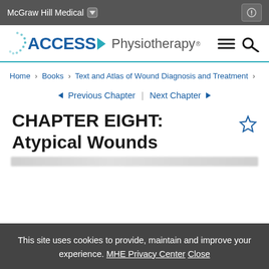McGraw Hill Medical
[Figure (logo): Access Physiotherapy logo with teal arrow and text]
Home > Books > Text and Atlas of Wound Diagnosis and Treatment >
Previous Chapter | Next Chapter
CHAPTER EIGHT: Atypical Wounds
This site uses cookies to provide, maintain and improve your experience. MHE Privacy Center Close